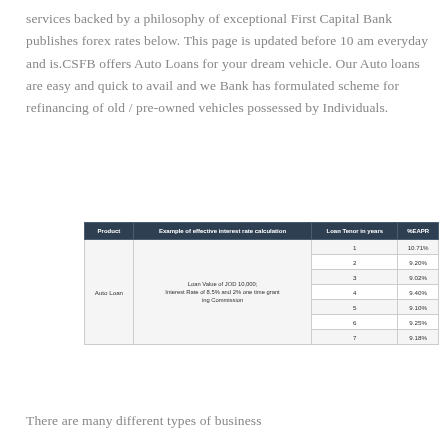services backed by a philosophy of exceptional First Capital Bank publishes forex rates below. This page is updated before 10 am everyday and is.CSFB offers Auto Loans for your dream vehicle. Our Auto loans are easy and quick to avail and we Bank has formulated scheme for refinancing of old / pre-owned vehicles possessed by Individuals.
| Product | Example of effective interest rate calculation | Loan Tenor in years | %EAPR |
| --- | --- | --- | --- |
| Auto Loan | Loan Value of JOD 10,000;
Interest Rate of 8.5% and 2% one time grant ing Commission | 1 | 10.71% |
|  |  | 2 | 9.20% |
|  |  | 3 | 9.02% |
|  |  | 4 | 9.40% |
|  |  | 5 | 9.10% |
|  |  | 6 | 9.25% |
|  |  | 7 | 9.18% |
There are many different types of business